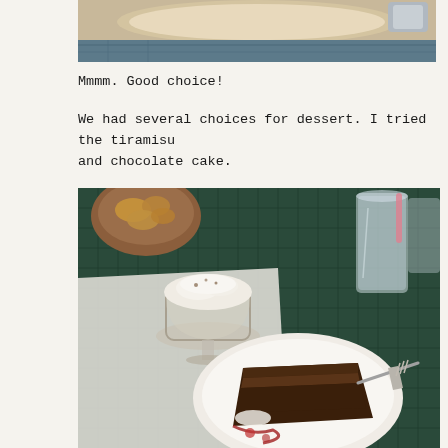[Figure (photo): Partial view of a restaurant table with a beige plate and decorative blue tiles in background, cropped at top of page]
Mmmm. Good choice!
We had several choices for dessert. I tried the tiramisu and chocolate cake.
[Figure (photo): Restaurant table scene showing a bowl of bread/pastries, a glass dessert cup with whipped cream (tiramisu), a slice of chocolate cake on a white plate with fork, a water glass, and blue tile tablecloth]